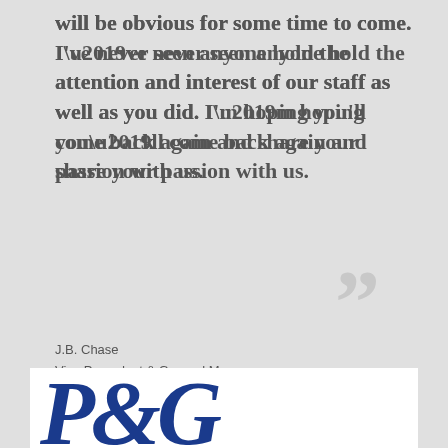will be obvious for some time to come. I’ve never seen anyone hold the attention and interest of our staff as well as you did. I’m hoping you’ll come back again and share your passion with us.
J.B. Chase
Vice Presedent & General Manager
Channel 9 WCPO-TV
[Figure (logo): Procter & Gamble (P&G) logo — stylized italic bold 'P&G' letters in dark blue on white background]